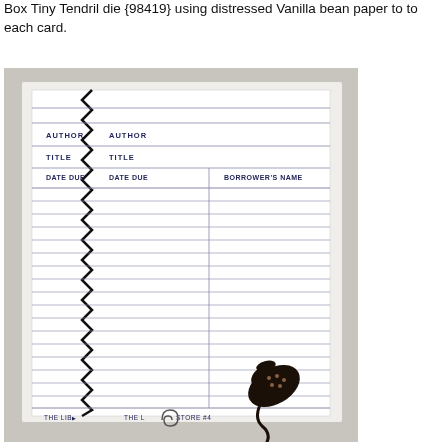Box Tiny Tendril die {98419} using distressed Vanilla bean paper to to each card.
[Figure (photo): A library card/book pocket with a zigzag-stitched spine on the left side. The card shows fields for AUTHOR, TITLE, DATE DUE, and BORROWER'S NAME with blue horizontal lines for entries. A decorative dark strawberry/leaf stamp is in the lower right corner. The bottom reads 'THE LIB...' and 'THE L... STORE #4...'. Photographed on a light gray background.]